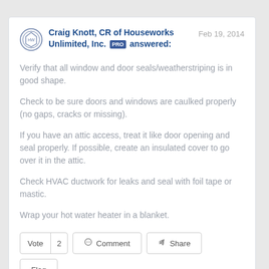Craig Knott, CR of Houseworks Unlimited, Inc. PRO answered:   Feb 19, 2014
Verify that all window and door seals/weatherstriping is in good shape.
Check to be sure doors and windows are caulked properly (no gaps, cracks or missing).
If you have an attic access, treat it like door opening and seal properly. If possible, create an insulated cover to go over it in the attic.
Check HVAC ductwork for leaks and seal with foil tape or mastic.
Wrap your hot water heater in a blanket.
Vote 2   Comment   Share   Flag